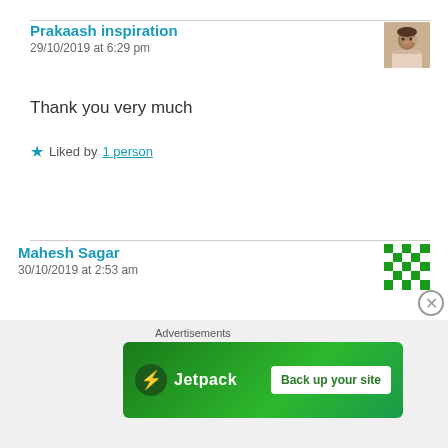Prakaash inspiration
29/10/2019 at 6:29 pm
Thank you very much
★ Liked by 1 person
Mahesh Sagar
30/10/2019 at 2:53 am
Great Article Prakash. Very inspirational and enlightening. Well done and best wishes.
[Figure (infographic): Jetpack advertisement banner with logo and 'Back up your site' button]
Advertisements